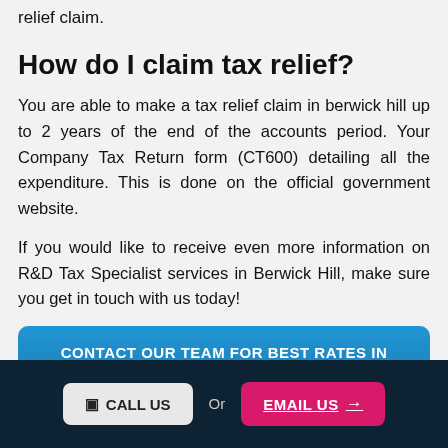relief claim.
How do I claim tax relief?
You are able to make a tax relief claim in berwick hill up to 2 years of the end of the accounts period. Your Company Tax Return form (CT600) detailing all the expenditure. This is done on the official government website.
If you would like to receive even more information on R&D Tax Specialist services in Berwick Hill, make sure you get in touch with us today!
CONTACT OUR TEAM FOR BEST RATES IN BERWICK HILL
CALL US
Or
EMAIL US →